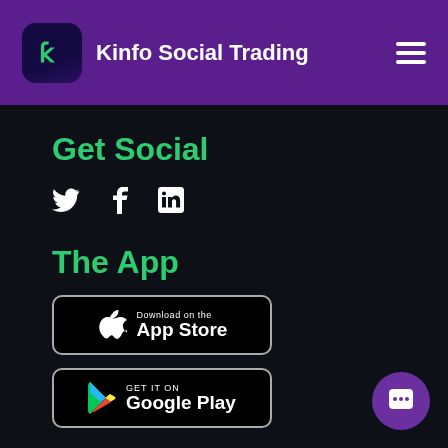Kinfo Social Trading
Get Social
[Figure (infographic): Social media icons: Twitter bird, Facebook f, LinkedIn in]
The App
[Figure (infographic): Download on the App Store badge]
[Figure (infographic): Get it on Google Play badge]
[Figure (infographic): Chat/support bubble icon in bottom right corner]